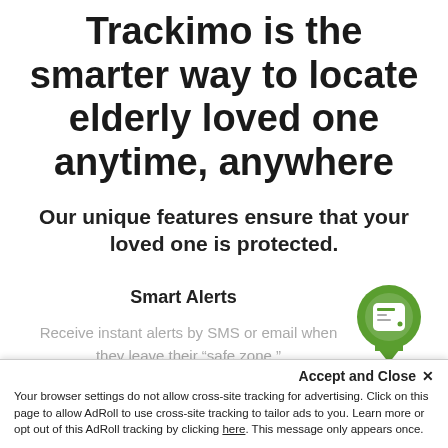Trackimo is the smarter way to locate elderly loved one anytime, anywhere
Our unique features ensure that your loved one is protected.
Smart Alerts
[Figure (illustration): Green map pin / location marker icon with a GPS tracker device screen shown inside the pin head]
Receive instant alerts by SMS or email when they leave their “safe zone.”
Lightweight
Accept and Close ×
Your browser settings do not allow cross-site tracking for advertising. Click on this page to allow AdRoll to use cross-site tracking to tailor ads to you. Learn more or opt out of this AdRoll tracking by clicking here. This message only appears once.